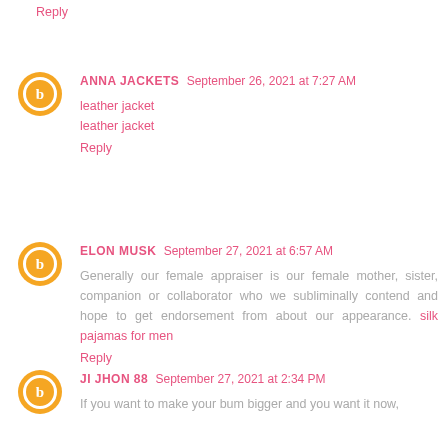Reply
ANNA JACKETS September 26, 2021 at 7:27 AM
leather jacket
leather jacket
Reply
ELON MUSK September 27, 2021 at 6:57 AM
Generally our female appraiser is our female mother, sister, companion or collaborator who we subliminally contend and hope to get endorsement from about our appearance. silk pajamas for men
Reply
JI JHON 88 September 27, 2021 at 2:34 PM
If you want to make your bum bigger and you want it now,